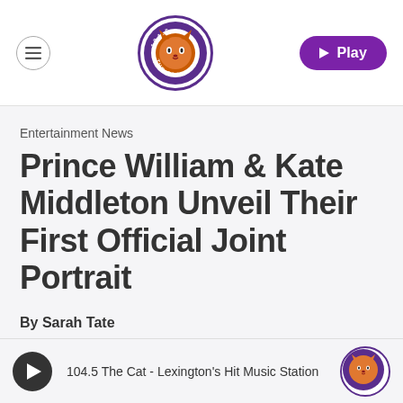104.5 The Cat — navigation header with hamburger menu, logo, and Play button
Entertainment News
Prince William & Kate Middleton Unveil Their First Official Joint Portrait
By Sarah Tate
104.5 The Cat - Lexington's Hit Music Station